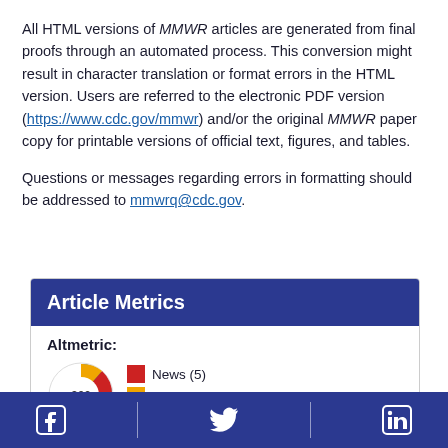All HTML versions of MMWR articles are generated from final proofs through an automated process. This conversion might result in character translation or format errors in the HTML version. Users are referred to the electronic PDF version (https://www.cdc.gov/mmwr) and/or the original MMWR paper copy for printable versions of official text, figures, and tables.
Questions or messages regarding errors in formatting should be addressed to mmwrq@cdc.gov.
Article Metrics
Altmetric:
[Figure (infographic): Altmetric donut badge showing score of 300 with colored arc segments. Legend shows News (5) and Blogs (1).]
Facebook | Twitter | LinkedIn social media icons